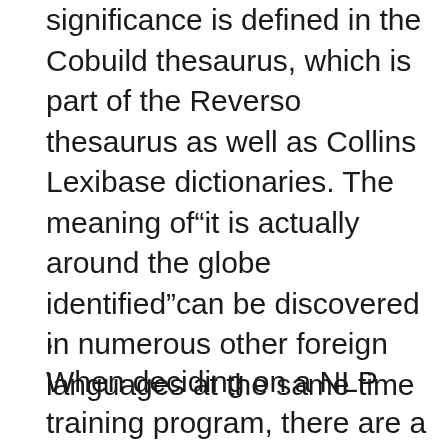significance is defined in the Cobuild thesaurus, which is part of the Reverso thesaurus as well as Collins Lexibase dictionaries. The meaning of“it is actually around the globe identified”can be discovered in numerous other foreign languages at the same time
.
When deciding on a NLP training program, there are a number of factors to look at. NLP is actually a